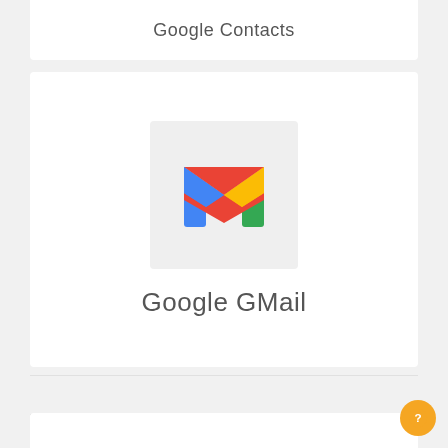Google Contacts
[Figure (logo): Gmail logo — colorful M shape with red envelope fold, blue left wing, yellow top right, green right wing, on light gray background]
Google GMail